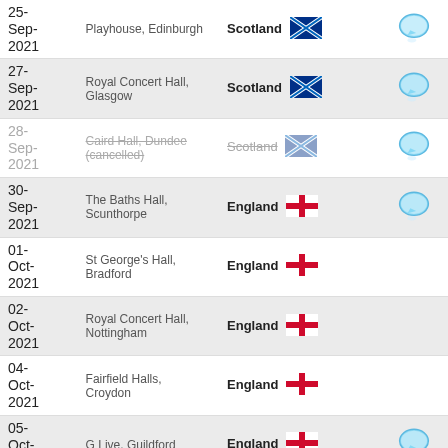| Date | Venue | Country |  |
| --- | --- | --- | --- |
| 25-Sep-2021 | Playhouse, Edinburgh | Scotland | bubble |
| 27-Sep-2021 | Royal Concert Hall, Glasgow | Scotland | bubble |
| 28-Sep-2021 | Caird Hall, Dundee (cancelled) | Scotland (cancelled) | bubble |
| 30-Sep-2021 | The Baths Hall, Scunthorpe | England | bubble |
| 01-Oct-2021 | St George's Hall, Bradford | England |  |
| 02-Oct-2021 | Royal Concert Hall, Nottingham | England | bubble |
| 04-Oct-2021 | Fairfield Halls, Croydon | England |  |
| 05-Oct-2021 | G Live, Guildford | England | bubble |
| 07-Oct-2021 | Dome, Brighton | England | bubble |
| 08-Oct-2021 | Lighthouse, Poole | England | bubble |